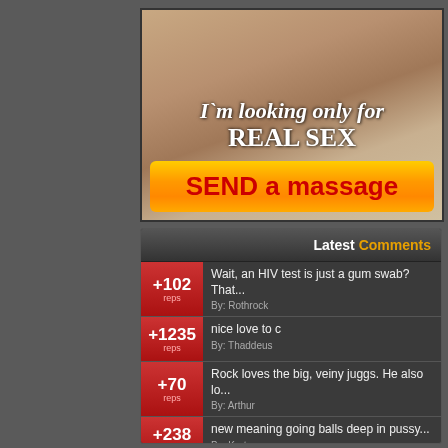[Figure (photo): Advertisement banner showing partial body image with text overlay reading 'I`m looking only for REAL SEX' and an orange button saying 'SEND a massage']
Latest Comments
+102 reps — Wait, an HIV test is just a gum swab? That... — By: Rothrock
+1235 reps — nice love to c — By: Thaddeus
+70 reps — Rock loves the big, veiny juggs. He also lo... — By: Arthur
+238 reps — new meaning going balls deep in pussy... — By: Kortz